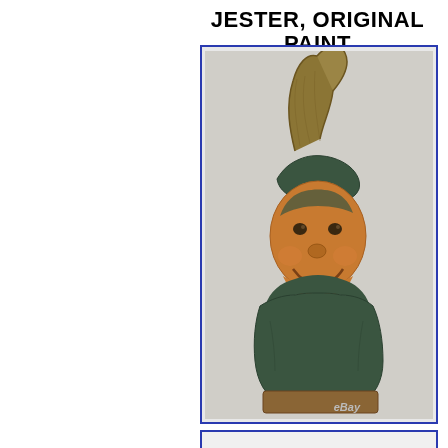JESTER, ORIGINAL PAINT
[Figure (photo): A cast iron or ceramic jester figurine bust with original polychrome paint. The jester wears a tall curled hat in brownish-gold tones, has a smiling face with painted features in amber/brown, and wears a dark greenish-blue ruffled collar and costume. The figurine sits on a rectangular base. An eBay watermark is visible in the lower right corner.]
[Figure (photo): Partial view of a second photo box at the bottom of the page, cut off.]